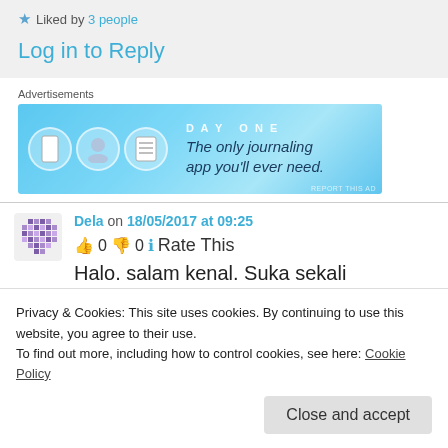★ Liked by 3 people
Log in to Reply
Advertisements
[Figure (other): Day One journaling app advertisement banner: 'The only journaling app you'll ever need.']
Dela on 18/05/2017 at 09:25
👍 0 👎 0 ℹ️ Rate This
Halo. salam kenal. Suka sekali membaca
Privacy & Cookies: This site uses cookies. By continuing to use this website, you agree to their use.
To find out more, including how to control cookies, see here: Cookie Policy
Close and accept